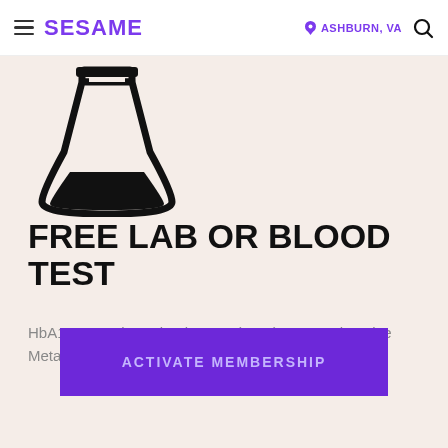SESAME — ASHBURN, VA
[Figure (illustration): Black outline icon of a laboratory flask/Erlenmeyer flask with liquid inside]
FREE LAB OR BLOOD TEST
HbA1c, Complete Blood Count (CBC), Comprehensive Metabolic Panel (CMP), and more – free of charge.
ACTIVATE MEMBERSHIP